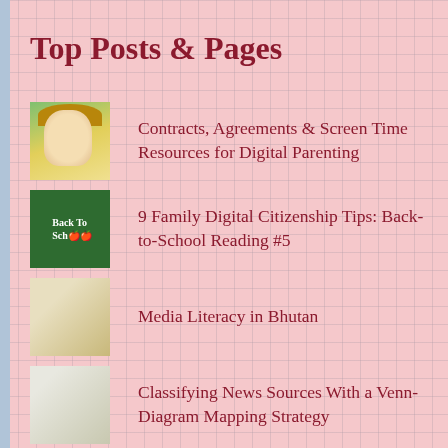Top Posts & Pages
Contracts, Agreements & Screen Time Resources for Digital Parenting
9 Family Digital Citizenship Tips: Back-to-School Reading #5
Media Literacy in Bhutan
Classifying News Sources With a Venn-Diagram Mapping Strategy
No Electronic Devices in Kids' Bedrooms